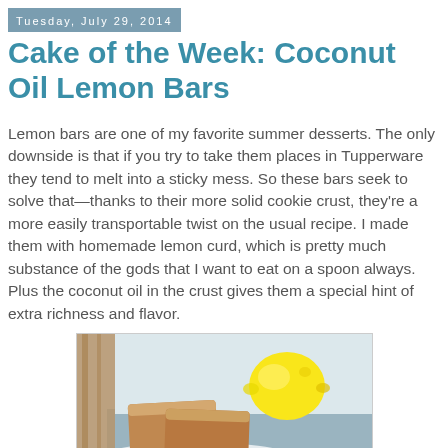Tuesday, July 29, 2014
Cake of the Week: Coconut Oil Lemon Bars
Lemon bars are one of my favorite summer desserts. The only downside is that if you try to take them places in Tupperware they tend to melt into a sticky mess. So these bars seek to solve that—thanks to their more solid cookie crust, they're a more easily transportable twist on the usual recipe. I made them with homemade lemon curd, which is pretty much substance of the gods that I want to eat on a spoon always. Plus the coconut oil in the crust gives them a special hint of extra richness and flavor.
[Figure (photo): Photo of coconut oil lemon bars on a white plate next to a yellow lemon, with a wooden background and light blue surface visible.]